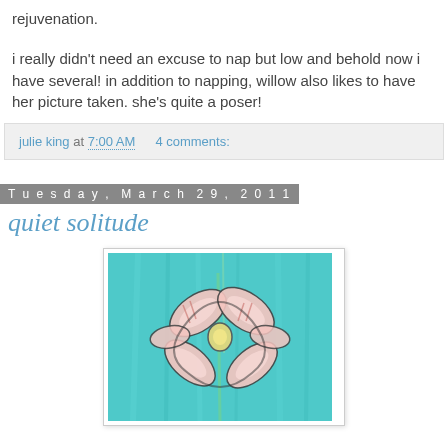rejuvenation.
i really didn't need an excuse to nap but low and behold now i have several! in addition to napping, willow also likes to have her picture taken. she's quite a poser!
julie king at 7:00 AM    4 comments:
Tuesday, March 29, 2011
quiet solitude
[Figure (illustration): Painting of a flower/butterfly on a teal/aqua blue brushstroke background, with pink and white petal shapes outlined in dark lines]